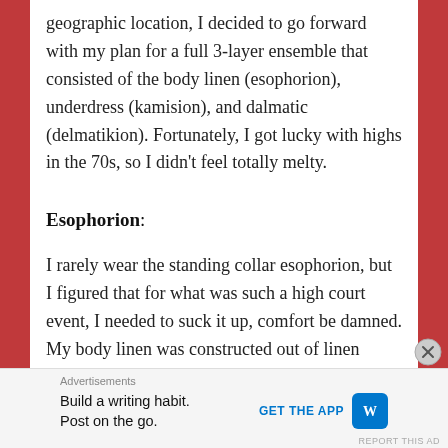geographic location, I decided to go forward with my plan for a full 3-layer ensemble that consisted of the body linen (esophorion), underdress (kamision), and dalmatic (delmatikion). Fortunately, I got lucky with highs in the 70s, so I didn't feel totally melty.
Esophorion:
I rarely wear the standing collar esophorion, but I figured that for what was such a high court event, I needed to suck it up, comfort be damned. My body linen was constructed out of linen gauze — This sounds more romantic and lovely than it sounds
[Figure (other): Advertisement banner: 'Build a writing habit. Post on the go.' with WordPress logo and 'GET THE APP' call to action button]